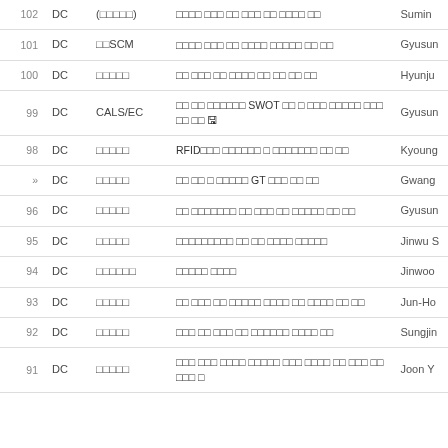| No | Type | Category | Title | Author |
| --- | --- | --- | --- | --- |
| 102 | DC | (□□□□□) | □□□□ □□□ □□ □□□ □□ □□□□ □□ | Sumin |
| 101 | DC | □□SCM | □□□□ □□□ □□ □□□□ □□□□□ □□ □□ | Gyusun |
| 100 | DC | □□□□□ | □□ □□□ □□ □□□□ □□ □□ □□ □□ | Hyunju |
| 99 | DC | CALS/EC | □□ □□ □□□□□□ SWOT □□ □ □□□ □□□□□ □□□ □□ □□ 🖫 | Gyusun |
| 98 | DC | □□□□□ | RFID□□□ □□□□□□ □ □□□□□□□ □□ □□ | Kyoung |
| » | DC | □□□□□ | □□ □□ □ □□□□□ GT □□□ □□ □□ | Gwang |
| 96 | DC | □□□□□ | □□ □□□□□□□ □□ □□□ □□ □□□□□ □□ □□ | Gyusun |
| 95 | DC | □□□□□ | □□□□□□□□□ □□ □□ □□□□ □□□□□ | Jinwu S |
| 94 | DC | □□□□□□ | □□□□□ □□□□ | Jinwoo |
| 93 | DC | □□□□□ | □□ □□□ □□ □□□□□ □□□□ □□ □□□□ □□ □□ | Jun-Ho |
| 92 | DC | □□□□□ | □□□ □□ □□□ □□ □□□□□□ □□□□ □□ | Sungjin |
| 91 | DC | □□□□□ | □□□ □□□ □□□□ □□□□□ □□□ □□□□ □□ □□□ □□ □□□ □ | Joon Y |